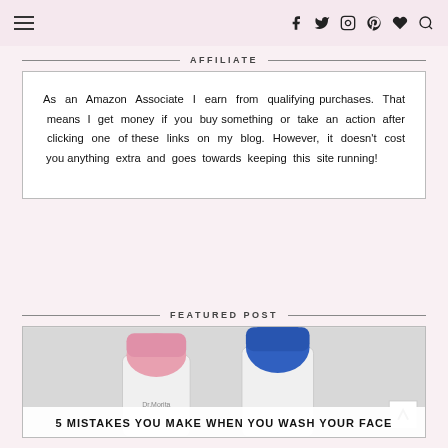Navigation bar with hamburger menu, social icons: facebook, twitter, instagram, pinterest, heart, search
AFFILIATE
As an Amazon Associate I earn from qualifying purchases. That means I get money if you buy something or take an action after clicking one of these links on my blog. However, it doesn't cost you anything extra and goes towards keeping this site running!
FEATURED POST
[Figure (photo): Two skincare bottles (pink cap white bottle, blue cap white bottle labeled Dr. Morita) against light background]
5 MISTAKES YOU MAKE WHEN YOU WASH YOUR FACE